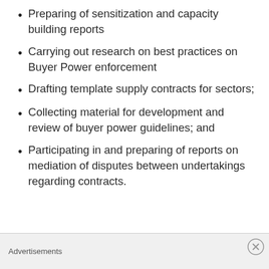Preparing of sensitization and capacity building reports
Carrying out research on best practices on Buyer Power enforcement
Drafting template supply contracts for sectors;
Collecting material for development and review of buyer power guidelines; and
Participating in and preparing of reports on mediation of disputes between undertakings regarding contracts.
Job Specifications
Advertisements